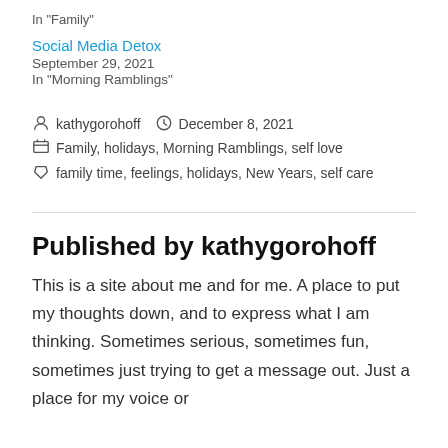In "Family"
Social Media Detox
September 29, 2021
In "Morning Ramblings"
kathygorohoff   December 8, 2021
Family, holidays, Morning Ramblings, self love
family time, feelings, holidays, New Years, self care
Published by kathygorohoff
This is a site about me and for me. A place to put my thoughts down, and to express what I am thinking. Sometimes serious, sometimes fun, sometimes just trying to get a message out. Just a place for my voice or